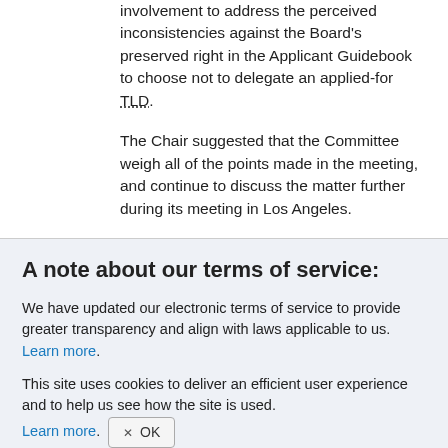involvement to address the perceived inconsistencies against the Board's preserved right in the Applicant Guidebook to choose not to delegate an applied-for TLD.
The Chair suggested that the Committee weigh all of the points made in the meeting, and continue to discuss the matter further during its meeting in Los Angeles.
A note about our terms of service:
We have updated our electronic terms of service to provide greater transparency and align with laws applicable to us. Learn more.
This site uses cookies to deliver an efficient user experience and to help us see how the site is used. Learn more. OK